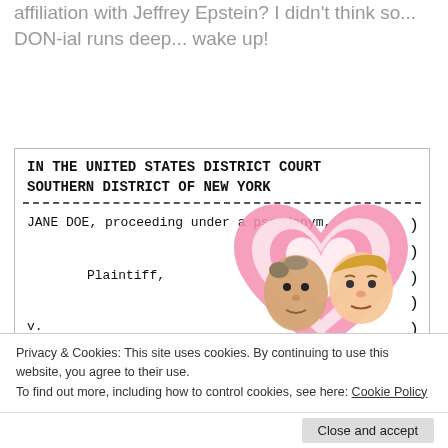affiliation with Jeffrey Epstein? I didn't think so... DON-ial runs deep... wake up!
[Figure (screenshot): Screenshot of a US District Court legal filing header: IN THE UNITED STATES DISTRICT COURT SOUTHERN DISTRICT OF NEW YORK, with JANE DOE proceeding under a pseudonym as Plaintiff v. DONALD J. TRUMP and JEFFREY E. EPSTEIN, overlaid with a cartoon illustration of two male faces inside nested pink heart shapes]
Privacy & Cookies: This site uses cookies. By continuing to use this website, you agree to their use.
To find out more, including how to control cookies, see here: Cookie Policy
Close and accept